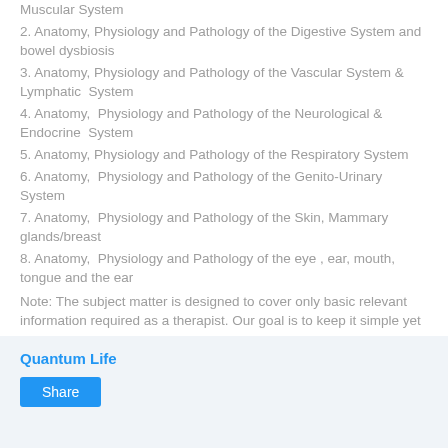Muscular System
2. Anatomy, Physiology and Pathology of the Digestive System and bowel dysbiosis
3. Anatomy, Physiology and Pathology of the Vascular System & Lymphatic System
4. Anatomy, Physiology and Pathology of the Neurological & Endocrine System
5. Anatomy, Physiology and Pathology of the Respiratory System
6. Anatomy, Physiology and Pathology of the Genito-Urinary System
7. Anatomy, Physiology and Pathology of the Skin, Mammary glands/breast
8. Anatomy, Physiology and Pathology of the eye , ear, mouth, tongue and the ear
Note: The subject matter is designed to cover only basic relevant information required as a therapist. Our goal is to keep it simple yet informative.
Quantum Life